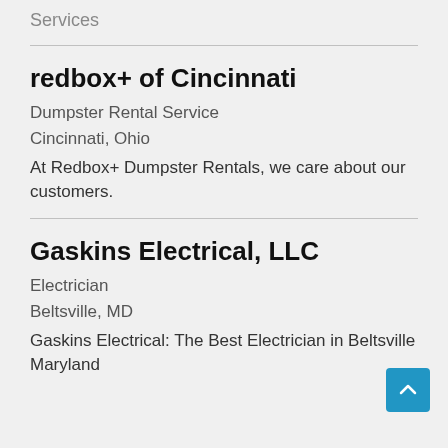Services
redbox+ of Cincinnati
Dumpster Rental Service
Cincinnati, Ohio
At Redbox+ Dumpster Rentals, we care about our customers.
Gaskins Electrical, LLC
Electrician
Beltsville, MD
Gaskins Electrical: The Best Electrician in Beltsville Maryland